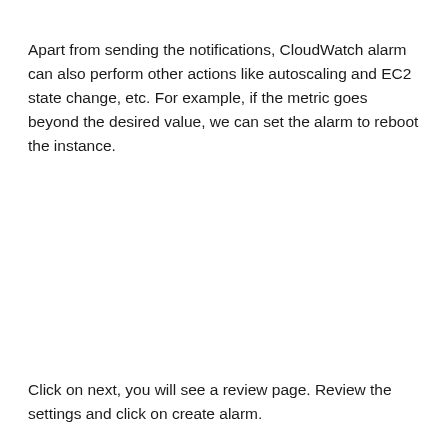Apart from sending the notifications, CloudWatch alarm can also perform other actions like autoscaling and EC2 state change, etc. For example, if the metric goes beyond the desired value, we can set the alarm to reboot the instance.
Click on next, you will see a review page. Review the settings and click on create alarm.